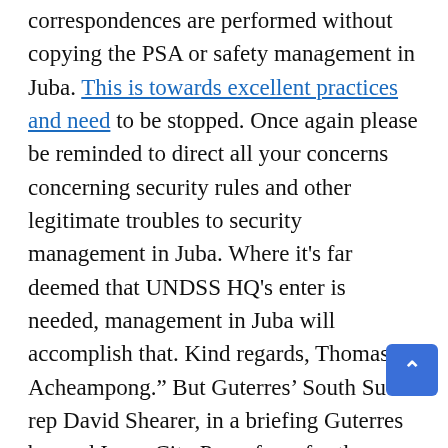correspondences are performed without copying the PSA or safety management in Juba. This is towards excellent practices and need to be stopped. Once again please be reminded to direct all your concerns concerning security rules and other legitimate troubles to security management in Juba. Where it's far deemed that UNDSS HQ's enter is needed, management in Juba will accomplish that. Kind regards, Thomas Acheampong." But Guterres' South Sudan rep David Shearer, in a briefing Guterres banned Inner City Press from for the 216th day, lied by way of omission. He changed into requested about the deaths of civilians, who turned into responsible – and stated NOTHING about his peacekeepers killing two civilians. This is a brand new low for the UN, as turned into the briefing, with multiple softball questions with the aid of Agence France Presse – "yo hogging the limelight," Shearer stated – after a first and ultimate query given by using Dujarric to his censorship associate James Doya of Al Jazeera. The handiest news